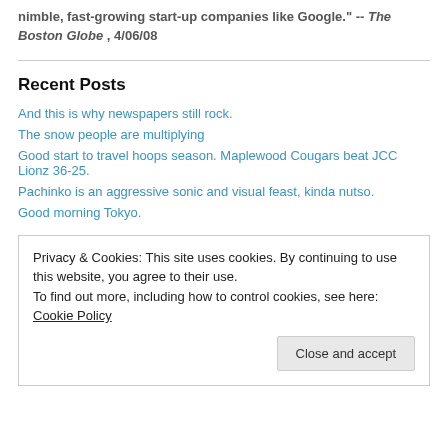nimble, fast-growing start-up companies like Google." -- The Boston Globe , 4/06/08
Recent Posts
And this is why newspapers still rock.
The snow people are multiplying
Good start to travel hoops season. Maplewood Cougars beat JCC Lionz 36-25.
Pachinko is an aggressive sonic and visual feast, kinda nutso.
Good morning Tokyo.
Privacy & Cookies: This site uses cookies. By continuing to use this website, you agree to their use. To find out more, including how to control cookies, see here: Cookie Policy